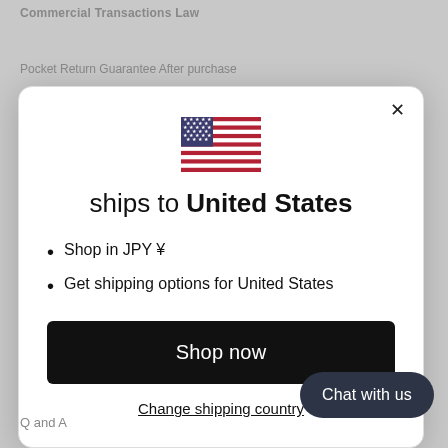Commercial Transactions Law
Pocket Return Guarantee After purchase
[Figure (screenshot): Modal dialog showing US flag, 'ships to United States' heading, bullet points for JPY ¥ and shipping options, Shop now button, Change shipping country link, and Chat with us widget]
Q and A